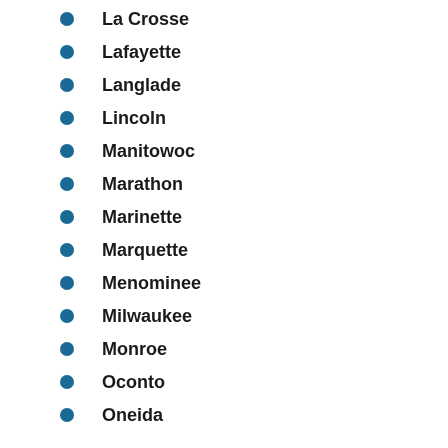La Crosse
Lafayette
Langlade
Lincoln
Manitowoc
Marathon
Marinette
Marquette
Menominee
Milwaukee
Monroe
Oconto
Oneida